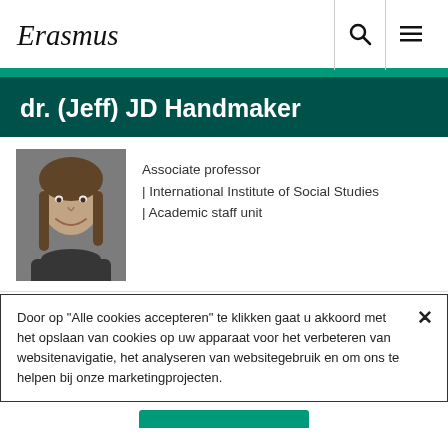Erasmus
dr. (Jeff) JD Handmaker
Associate professor | International Institute of Social Studies | Academic staff unit
[Figure (photo): Headshot photo of dr. (Jeff) JD Handmaker, a man with long hair smiling, wearing dark clothing, against a neutral background.]
Door op "Alle cookies accepteren" te klikken gaat u akkoord met het opslaan van cookies op uw apparaat voor het verbeteren van websitenavigatie, het analyseren van websitegebruik en om ons te helpen bij onze marketingprojecten.